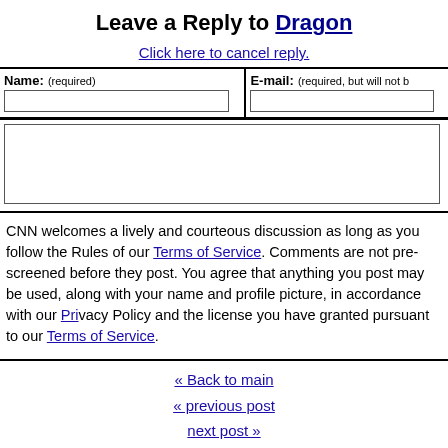Leave a Reply to Dragon
Click here to cancel reply.
Name: (required)   E-mail: (required, but will not be published)
CNN welcomes a lively and courteous discussion as long as you follow the Rules of our Terms of Service. Comments are not pre-screened before they post. You agree that anything you post may be used, along with your name and profile picture, in accordance with our Privacy Policy and the license you have granted pursuant to our Terms of Service.
« Back to main
« previous post
next post »
Recent Highlights